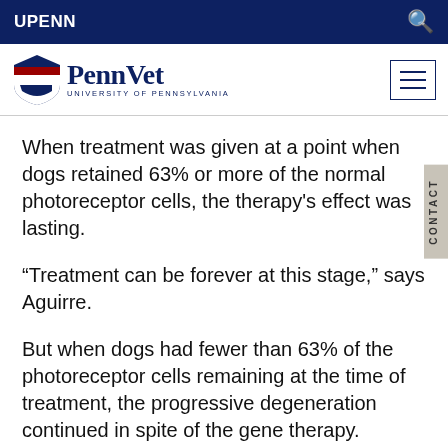UPENN
[Figure (logo): PennVet University of Pennsylvania logo with shield emblem]
When treatment was given at a point when dogs retained 63% or more of the normal photoreceptor cells, the therapy's effect was lasting.
“Treatment can be forever at this stage,” says Aguirre.
But when dogs had fewer than 63% of the photoreceptor cells remaining at the time of treatment, the progressive degeneration continued in spite of the gene therapy.